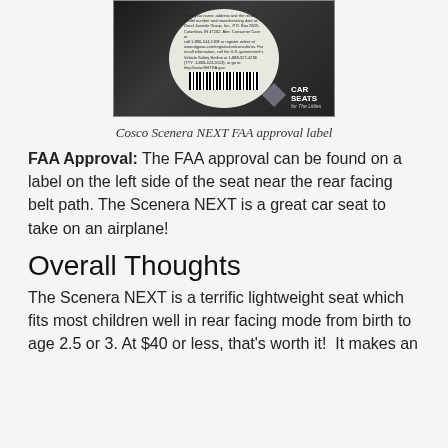[Figure (photo): Photo of Cosco Scenera NEXT FAA approval label on the car seat, showing a circular label with small text, barcode, and a Car Seats for The Littles logo in the corner.]
Cosco Scenera NEXT FAA approval label
FAA Approval: The FAA approval can be found on a label on the left side of the seat near the rear facing belt path. The Scenera NEXT is a great car seat to take on an airplane!
Overall Thoughts
The Scenera NEXT is a terrific lightweight seat which fits most children well in rear facing mode from birth to age 2.5 or 3. At $40 or less, that's worth it!  It makes an